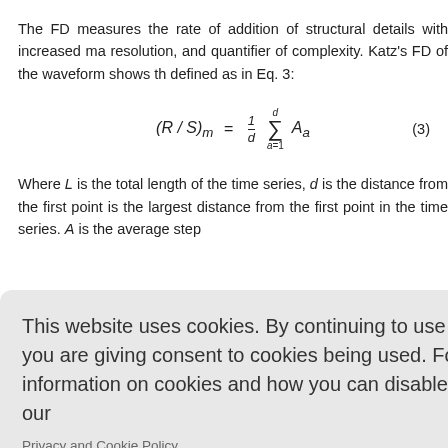The FD measures the rate of addition of structural details with increased ma resolution, and quantifier of complexity. Katz's FD of the waveform shows th defined as in Eq. 3:
Where L is the total length of the time series, d is the distance from the first point is the largest distance from the first point in the time series. A is the average step
ne waveform
ned as in Eq
ata and it is
This website uses cookies. By continuing to use this website you are giving consent to cookies being used. For information on cookies and how you can disable them visit our
Privacy and Cookie Policy.
AGREE & PROCEED